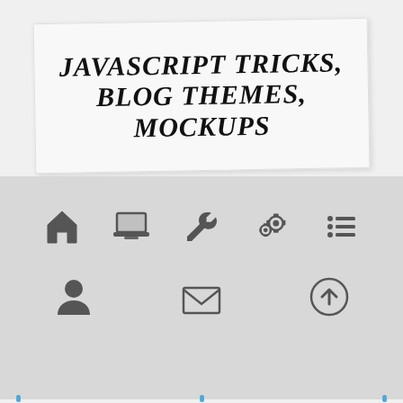JAVASCRIPT TRICKS, BLOG THEMES, MOCKUPS
[Figure (infographic): Navigation icon bar with home, laptop, wrench, gear/settings, list icons in top row; person/user, envelope/mail, and up-arrow icons in bottom row, on gray background]
Creating an ES6 Function that accepts infinite Arguments with Example